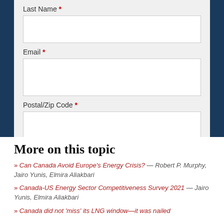Last Name *
Email *
Postal/Zip Code *
Subscribe
More on this topic
» Can Canada Avoid Europe's Energy Crisis? — Robert P. Murphy, Jairo Yunis, Elmira Aliakbari
» Canada-US Energy Sector Competitiveness Survey 2021 — Jairo Yunis, Elmira Aliakbari
» Canada did not 'miss' its LNG window—it was nailed